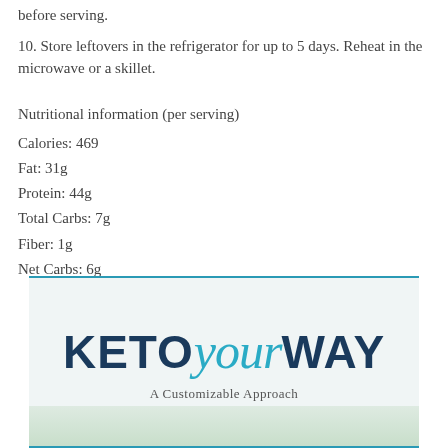before serving.
10. Store leftovers in the refrigerator for up to 5 days. Reheat in the microwave or a skillet.
Nutritional information (per serving)
Calories: 469
Fat: 31g
Protein: 44g
Total Carbs: 7g
Fiber: 1g
Net Carbs: 6g
[Figure (logo): Keto Your Way logo with tagline 'A Customizable Approach']